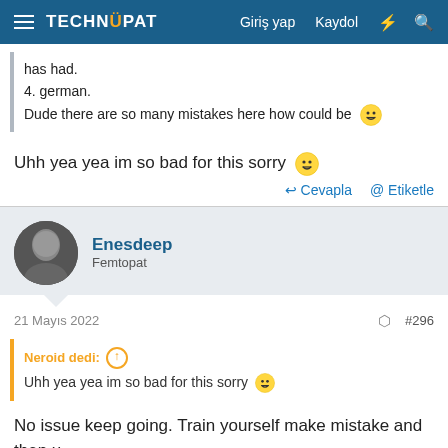TECHNOPAT — Giriş yap  Kaydol
has had.
4. german.
Dude there are so many mistakes here how could be 😄
Uhh yea yea im so bad for this sorry 😄
Cevapla  Etiketle
Enesdeep
Femtopat
21 Mayıs 2022  #296
Neroid dedi:
Uhh yea yea im so bad for this sorry 😄
No issue keep going. Train yourself make mistake and then u